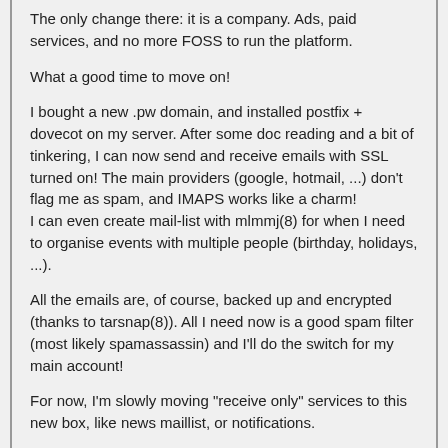The only change there: it is a company. Ads, paid services, and no more FOSS to run the platform.
What a good time to move on!
I bought a new .pw domain, and installed postfix + dovecot on my server. After some doc reading and a bit of tinkering, I can now send and receive emails with SSL turned on! The main providers (google, hotmail, ...) don't flag me as spam, and IMAPS works like a charm!
I can even create mail-list with mlmmj(8) for when I need to organise events with multiple people (birthday, holidays, ...).
All the emails are, of course, backed up and encrypted (thanks to tarsnap(8)). All I need now is a good spam filter (most likely spamassassin) and I'll do the switch for my main account!
For now, I'm slowly moving "receive only" services to this new box, like news maillist, or notifications.